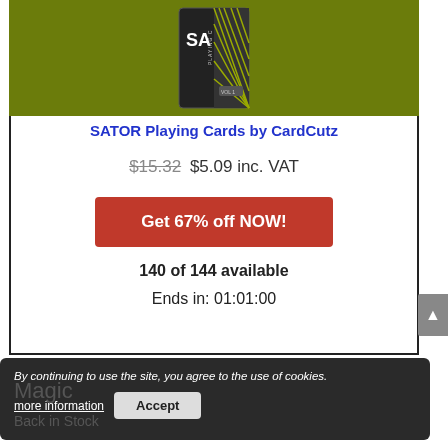[Figure (photo): Product image of SATOR Playing Cards box on olive/yellow-green background]
SATOR Playing Cards by CardCutz
$15.32 $5.09 inc. VAT
Get 67% off NOW!
140 of 144 available
Ends in: 01:01:00
By continuing to use the site, you agree to the use of cookies.
more information
Accept
Magic
Back in Stock